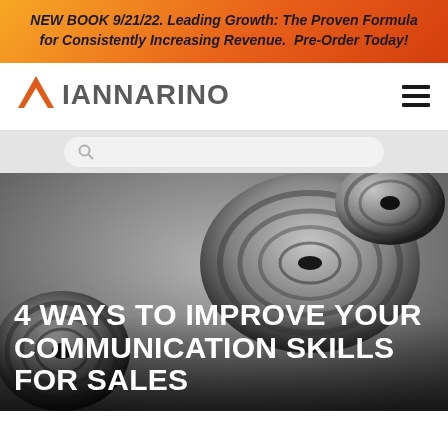NEW BOOK 9/21/22. Leading Growth: The Proven Formula for Consistently Increasing Revenue. Pre-Order Today!
[Figure (logo): Iannarino brand logo with orange triangle/chevron icon and gray IANNARINO wordmark]
[Figure (photo): Grayscale close-up photograph of tin can telephone or speaker cones on dark gray background]
4 WAYS TO IMPROVE YOUR COMMUNICATION SKILLS FOR SALES